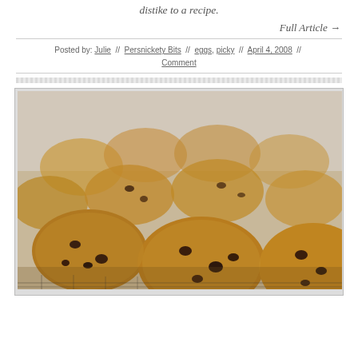distike to a recipe.
Full Article →
Posted by: Julie // Persnickety Bits // eggs, picky // April 4, 2008 // Comment
[Figure (photo): Close-up photograph of chocolate chip cookies on a cooling rack, with warm golden-brown tones and chocolate chips visible]